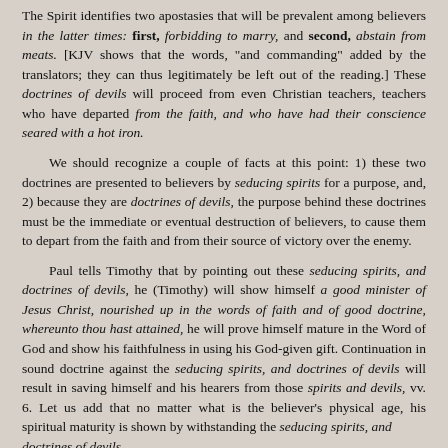The Spirit identifies two apostasies that will be prevalent among believers in the latter times: first, forbidding to marry, and second, abstain from meats. [KJV shows that the words, "and commanding" added by the translators; they can thus legitimately be left out of the reading.] These doctrines of devils will proceed from even Christian teachers, teachers who have departed from the faith, and who have had their conscience seared with a hot iron.
We should recognize a couple of facts at this point: 1) these two doctrines are presented to believers by seducing spirits for a purpose, and, 2) because they are doctrines of devils, the purpose behind these doctrines must be the immediate or eventual destruction of believers, to cause them to depart from the faith and from their source of victory over the enemy.
Paul tells Timothy that by pointing out these seducing spirits, and doctrines of devils, he (Timothy) will show himself a good minister of Jesus Christ, nourished up in the words of faith and of good doctrine, whereunto thou hast attained, he will prove himself mature in the Word of God and show his faithfulness in using his God-given gift. Continuation in sound doctrine against the seducing spirits, and doctrines of devils will result in saving himself and his hearers from those spirits and devils, vv. 6. Let us add that no matter what is the believer's physical age, his spiritual maturity is shown by withstanding the seducing spirits, and doctrines of devils.